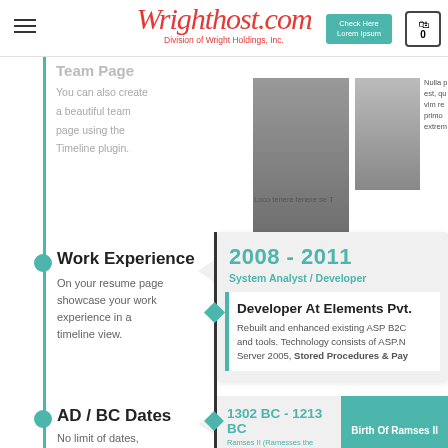Wrighthost.com — Division of Wright Holdings, Inc.
Team Page
You can also create a beautiful team page using the Timeline plugin.
[Figure (photo): Black and white portrait photo of a young Asian man]
Nulla p est, qu vim re primo extrem Loco tenere tenere se T
[Figure (photo): Portrait photo of a young woman]
Work Experience
On your resume page showcase your work experience in a timeline view.
2008 - 2011
System Analyst / Developer
Developer At Elements Pvt.
Rebuilt and enhanced existing ASP B2C and tools. Technology consists of ASP.N Server 2005, Stored Procedures & Pay
AD / BC Dates
No limit of dates, now you can also
1302 BC - 1213 BC
Ramses II (Ramesses the Great)
Birth Of Ramses II